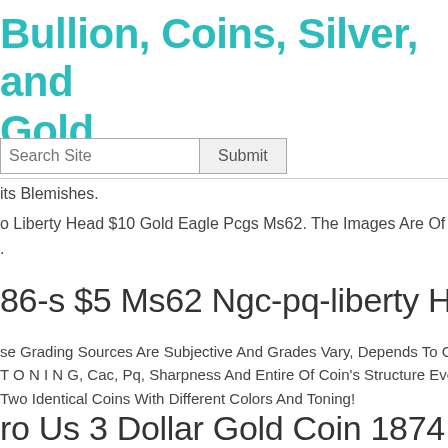Bullion, Coins, Silver, and Gold
Search Site  Submit
its Blemishes.
o Liberty Head $10 Gold Eagle Pcgs Ms62. The Images Are Of The Ac
.
86-s $5 Ms62 Ngc-pq-liberty Head
se Grading Sources Are Subjective And Grades Vary, Depends To C
T O N I N G, Cac, Pq, Sharpness And Entire Of Coin's Structure Ever
Two Identical Coins With Different Colors And Toning!
ro Us 3 Dollar Gold Coin 1874 Indi